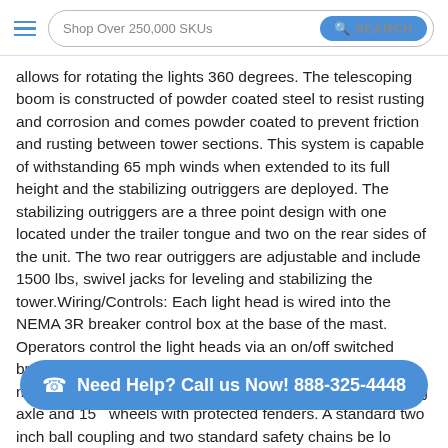Shop Over 250,000 SKUs | SEARCH
allows for rotating the lights 360 degrees. The telescoping boom is constructed of powder coated steel to resist rusting and corrosion and comes powder coated to prevent friction and rusting between tower sections. This system is capable of withstanding 65 mph winds when extended to its full height and the stabilizing outriggers are deployed. The stabilizing outriggers are a three point design with one located under the trailer tongue and two on the rear sides of the unit. The two rear outriggers are adjustable and include 1500 lbs, swivel jacks for leveling and stabilizing the tower.Wiring/Controls: Each light head is wired into the NEMA 3R breaker control box at the base of the mast. Operators control the light heads via an on/off switched breaker per individual light head.Trailer: The entire unit is mounted onto a two wheel trailer with a 3,500 lbs leaf spring axle and 15  wheels with protected fenders. A standard two inch ball coupling and two standard safety chains be lo mounted to the outer section of the light mast.RNT-WCDE-
[Figure (other): Call to action pill button: 'Need Help? Call us Now! 888-325-4448' with phone icon, cyan/blue background]